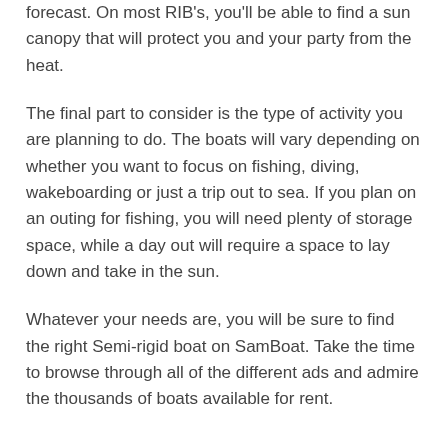forecast. On most RIB's, you'll be able to find a sun canopy that will protect you and your party from the heat.
The final part to consider is the type of activity you are planning to do. The boats will vary depending on whether you want to focus on fishing, diving, wakeboarding or just a trip out to sea. If you plan on an outing for fishing, you will need plenty of storage space, while a day out will require a space to lay down and take in the sun.
Whatever your needs are, you will be sure to find the right Semi-rigid boat on SamBoat. Take the time to browse through all of the different ads and admire the thousands of boats available for rent.